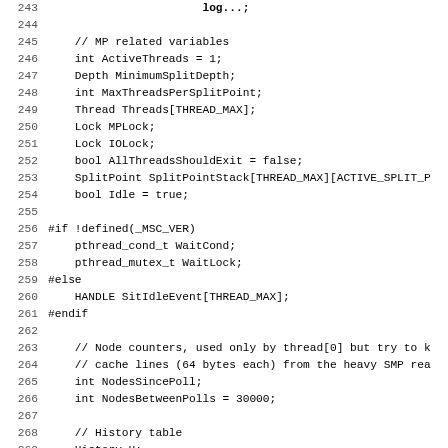[Figure (screenshot): Source code listing showing C++ class member variable declarations and function declarations, lines 243-275, including MP related variables, threading constructs, node counters, history table, and function signatures.]